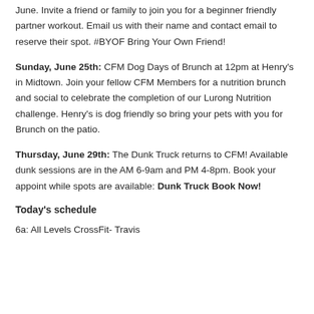June. Invite a friend or family to join you for a beginner friendly partner workout. Email us with their name and contact email to reserve their spot. #BYOF Bring Your Own Friend!
Sunday, June 25th: CFM Dog Days of Brunch at 12pm at Henry's in Midtown. Join your fellow CFM Members for a nutrition brunch and social to celebrate the completion of our Lurong Nutrition challenge. Henry's is dog friendly so bring your pets with you for Brunch on the patio.
Thursday, June 29th: The Dunk Truck returns to CFM! Available dunk sessions are in the AM 6-9am and PM 4-8pm. Book your appoint while spots are available: Dunk Truck Book Now!
Today's schedule
6a: All Levels CrossFit- Travis